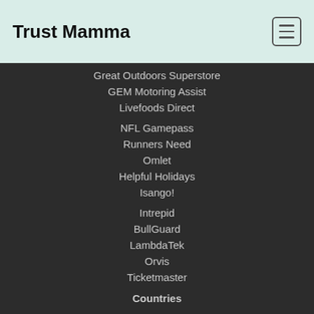Trust Mamma
Great Outdoors Superstore
GEM Motoring Assist
Livefoods Direct
NFL Gamepass
Runners Need
Omlet
Helpful Holidays
Isango!
Intrepid
BullGuard
LambdaTek
Orvis
Ticketmaster
Countries